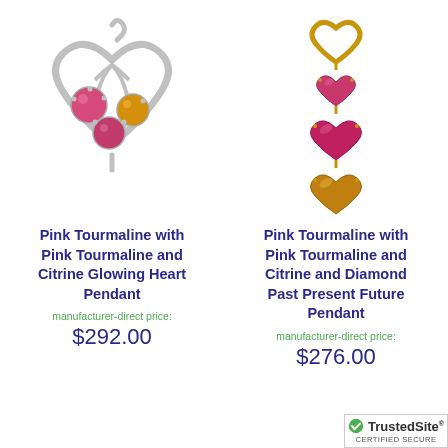[Figure (photo): White gold heart-shaped pendant with pink tourmaline and citrine gemstones arranged inside the open heart design with decorative swirls]
Pink Tourmaline with Pink Tourmaline and Citrine Glowing Heart Pendant
manufacturer-direct price:
$292.00
[Figure (photo): Yellow gold drop pendant with heart-shaped top, two pink tourmaline hearts and one citrine heart stacked vertically]
Pink Tourmaline with Pink Tourmaline and Citrine and Diamond Past Present Future Pendant
manufacturer-direct price:
$276.00
[Figure (logo): TrustedSite Certified Secure badge with green checkmark]